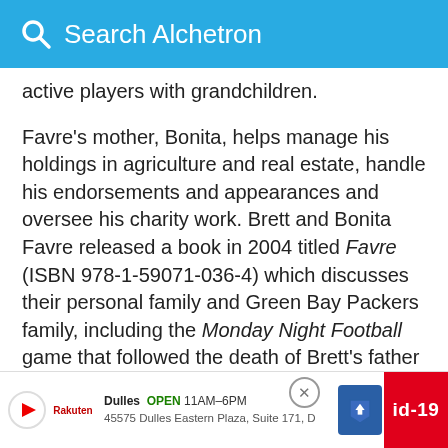Search Alchetron
active players with grandchildren.
Favre's mother, Bonita, helps manage his holdings in agriculture and real estate, handle his endorsements and appearances and oversee his charity work. Brett and Bonita Favre released a book in 2004 titled Favre (ISBN 978-1-59071-036-4) which discusses their personal family and Green Bay Packers family, including the Monday Night Football game that followed the death of Brett's father Irvin Favre.
Brett's nephew Dylan Favre plays quarterback for Cedar... having...
[Figure (screenshot): Ad banner: Dulles OPEN 11AM-6PM, 45575 Dulles Eastern Plaza, Suite 171, D — with navigation arrow icon and id-19 red badge]